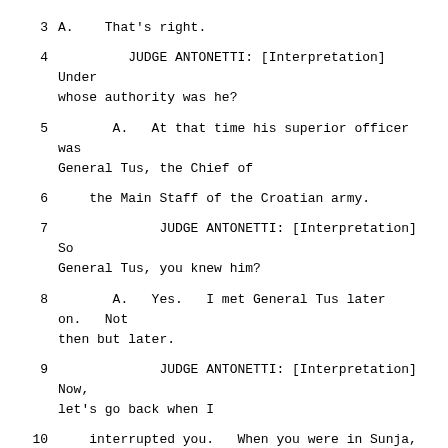3   A.   That's right.
4        JUDGE ANTONETTI: [Interpretation] Under whose authority was he?
5        A.   At that time his superior officer was General Tus, the Chief of
6        the Main Staff of the Croatian army.
7             JUDGE ANTONETTI: [Interpretation] So General Tus, you knew him?
8        A.   Yes.  I met General Tus later on.  Not then but later.
9             JUDGE ANTONETTI: [Interpretation] Now, let's go back when I
10       interrupted you.  When you were in Sunja, did